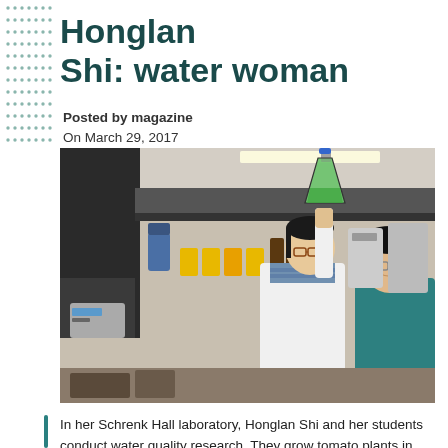Honglan Shi: water woman
Posted by magazine
On March 29, 2017
[Figure (photo): Two women in a laboratory examining a flask containing green liquid. One woman in a white lab coat holds up the flask, with laboratory equipment and bottles visible in the background.]
In her Schrenk Hall laboratory, Honglan Shi and her students conduct water quality research. They grow tomato plants in different types of water, and use potassium permanganate (in